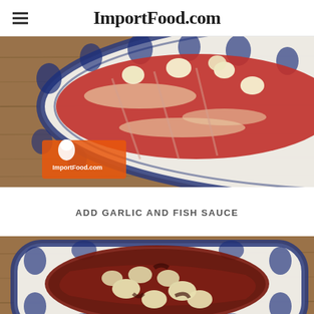ImportFood.com
[Figure (photo): Raw beef short ribs on a blue and white Thai ceramic plate with garlic cloves scattered on top, placed on a wooden surface. ImportFood.com logo visible in lower left corner.]
ADD GARLIC AND FISH SAUCE
[Figure (photo): Beef short ribs marinated with dark fish sauce and garlic cloves on a blue and white Thai ceramic plate on a wooden surface, viewed from above.]